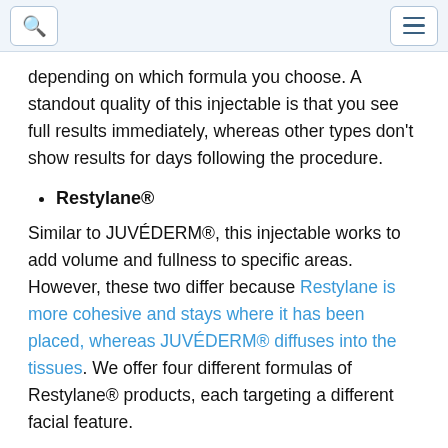[search icon] [menu icon]
depending on which formula you choose. A standout quality of this injectable is that you see full results immediately, whereas other types don't show results for days following the procedure.
Restylane®
Similar to JUVÉDERM®, this injectable works to add volume and fullness to specific areas. However, these two differ because Restylane is more cohesive and stays where it has been placed, whereas JUVÉDERM® diffuses into the tissues. We offer four different formulas of Restylane® products, each targeting a different facial feature.
Restylane® Kyss: Lip filler (results typically last up to a year)
Restylane® Defyne: Targets laugh lines